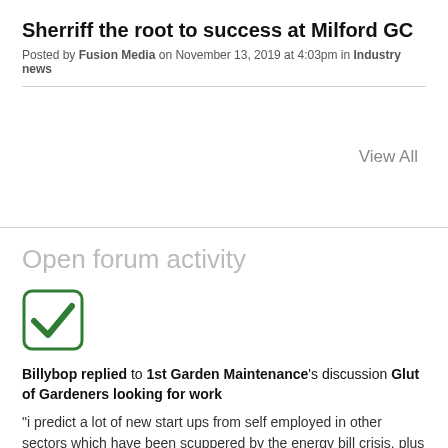Sherriff the root to success at Milford GC
Posted by Fusion Media on November 13, 2019 at 4:03pm in Industry news
View All
Open forum activity
[Figure (illustration): Green checkmark icon inside a rounded square border]
Billybop replied to 1st Garden Maintenance's discussion Glut of Gardeners looking for work
"i predict a lot of new start ups from self employed in other sectors which have been scuppered by the energy bill crisis, plus former producers of non essential or intangible goods that risk being increasingly shunned by the newly cost conscious..."
4 hours ago